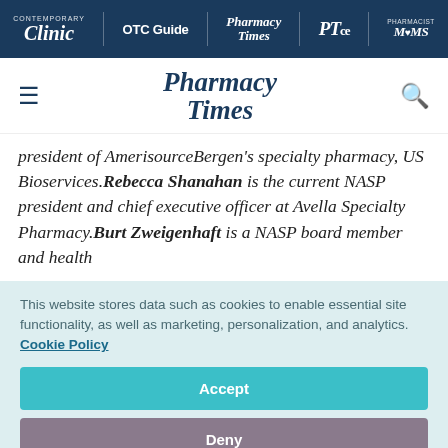Contemporary Clinic | OTC Guide | Pharmacy Times | PTce | Pharmacist Moms
[Figure (logo): Pharmacy Times logo with hamburger menu and search icon]
president of AmerisourceBergen's specialty pharmacy, US Bioservices. Rebecca Shanahan is the current NASP president and chief executive officer at Avella Specialty Pharmacy. Burt Zweigenhaft is a NASP board member and health
This website stores data such as cookies to enable essential site functionality, as well as marketing, personalization, and analytics. Cookie Policy
Accept
Deny